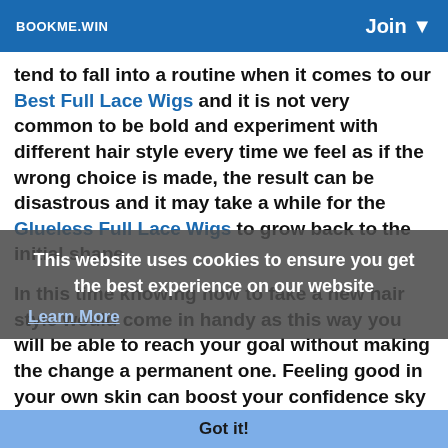BOOKME.WIN | Join
tend to fall into a routine when it comes to our Best Full Lace Wigs and it is not very common to be bold and experiment with different hair style every time we feel as if the wrong choice is made, the result can be disastrous and it may take a while for the Glueless Full Lace Wigs to grow back to the initial shape.
In this time knowing how to fake a new hair style would come in handy as this way you will be able to reach your goal without making the change a permanent one. Feeling good in your own skin can boost your confidence sky high, and this is highly beneficial when it comes to beauty and style so, to look and feel different and fabulous in the same time without making any permanent changes to
This website uses cookies to ensure you get the best experience on our website
Learn More
Got it!